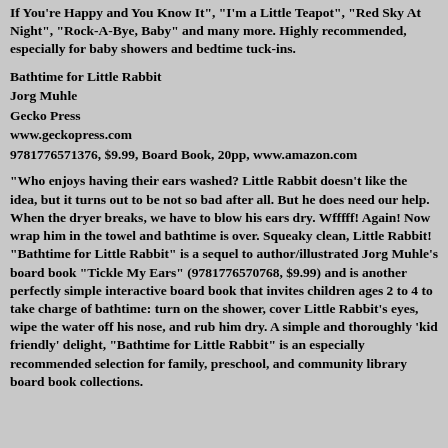If You're Happy and You Know It", "I'm a Little Teapot", "Red Sky At Night", "Rock-A-Bye, Baby" and many more. Highly recommended, especially for baby showers and bedtime tuck-ins.
Bathtime for Little Rabbit
Jorg Muhle
Gecko Press
www.geckopress.com
9781776571376, $9.99, Board Book, 20pp, www.amazon.com
"Who enjoys having their ears washed? Little Rabbit doesn't like the idea, but it turns out to be not so bad after all. But he does need our help. When the dryer breaks, we have to blow his ears dry. Wfffff! Again! Now wrap him in the towel and bathtime is over. Squeaky clean, Little Rabbit!  "Bathtime for Little Rabbit" is a sequel to author/illustrated Jorg Muhle's board book "Tickle My Ears" (9781776570768, $9.99) and is another perfectly simple interactive board book that invites children ages 2 to 4 to take charge of bathtime: turn on the shower, cover Little Rabbit's eyes, wipe the water off his nose, and rub him dry. A simple and thoroughly 'kid friendly' delight, "Bathtime for Little Rabbit" is an especially recommended selection for family, preschool, and community library board book collections.